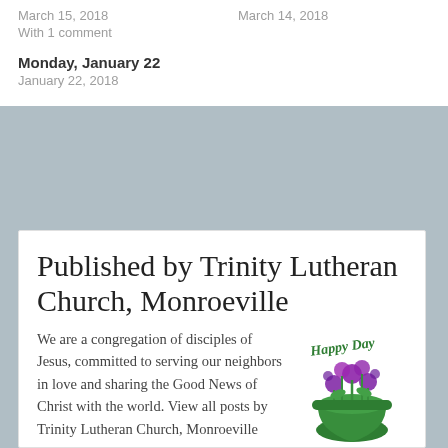March 15, 2018
March 14, 2018
With 1 comment
Monday, January 22
January 22, 2018
Published by Trinity Lutheran Church, Monroeville
We are a congregation of disciples of Jesus, committed to serving our neighbors in love and sharing the Good News of Christ with the world. View all posts by Trinity Lutheran Church, Monroeville
[Figure (illustration): Happy Day illustration with purple flowers in a green pot and 'Happy Day' text in green cursive]